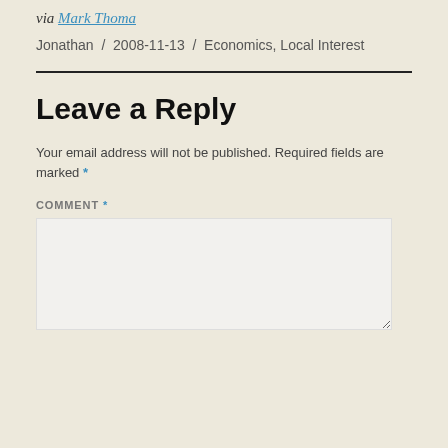via Mark Thoma
Jonathan / 2008-11-13 / Economics, Local Interest
Leave a Reply
Your email address will not be published. Required fields are marked *
COMMENT *